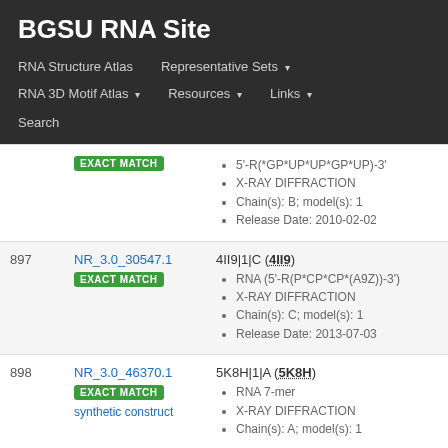BGSU RNA Site
RNA Structure Atlas | Representative Sets ▾ | RNA 3D Motif Atlas ▾ | Resources ▾ | Links ▾ | Search
| # | ID | Details |
| --- | --- | --- |
|  |  | 5'-R(*GP*UP*UP*GP*UP)-3' | X-RAY DIFFRACTION | Chain(s): B; model(s): 1 | Release Date: 2010-02-02 |
| 897 | NR_3.0_30547.1 EXACT MATCH | 4II9|1|C (4II9) | RNA (5'-R(P*CP*CP*(A9Z))-3') | X-RAY DIFFRACTION | Chain(s): C; model(s): 1 | Release Date: 2013-07-03 |
| 898 | NR_3.0_46370.1 EXACT MATCH synthetic construct | 5K8H|1|A (5K8H) | RNA 7-mer | X-RAY DIFFRACTION | Chain(s): A; model(s): 1 |